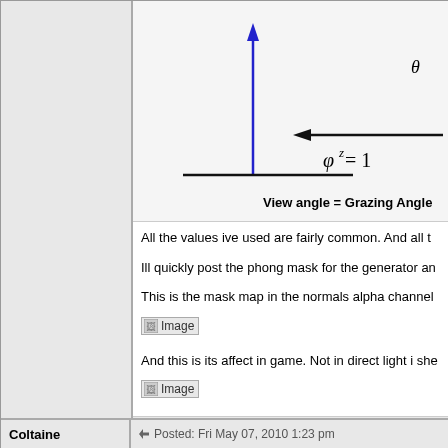[Figure (engineering-diagram): Diagram showing a vertical blue arrow pointing up from a horizontal black line, and a horizontal black arrow pointing left, with the equation phi^2 = 1 and label 'View angle = Grazing Angle']
All the values ive used are fairly common. And all t...
Ill quickly post the phong mask for the generator an...
This is the mask map in the normals alpha channel...
[Figure (photo): Image placeholder (broken image icon)]
And this is its affect in game. Not in direct light i she...
[Figure (photo): Image placeholder (broken image icon)]
Coltaine
Posted: Fri May 07, 2010 1:23 pm